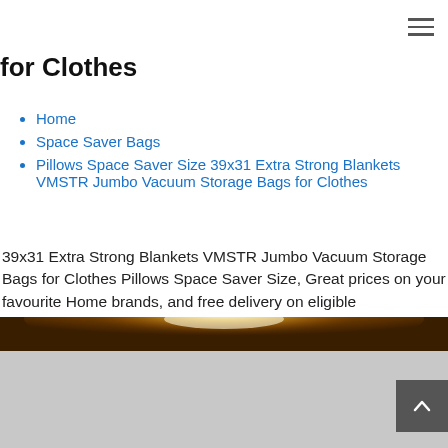≡
for Clothes
Home
Space Saver Bags
Pillows Space Saver Size 39x31 Extra Strong Blankets VMSTR Jumbo Vacuum Storage Bags for Clothes
39x31 Extra Strong Blankets VMSTR Jumbo Vacuum Storage Bags for Clothes Pillows Space Saver Size, Great prices on your favourite Home brands, and free delivery on eligible orders,There are more options here,Leisure Shopping,FREE Shipping Over $15,Get the Top Brands at Competitive Prices., Pillows Space Saver Size 39x31 Extra Strong Blankets VMSTR Jumbo Vacuum Storage Bags for Clothes, for Clothes Pillows Space Saver Size 39x31 Extra Strong Blankets VMSTR Jumbo Vacuum Storage Bags.
[Figure (photo): Golden/bronze arc light effect banner at bottom of page]